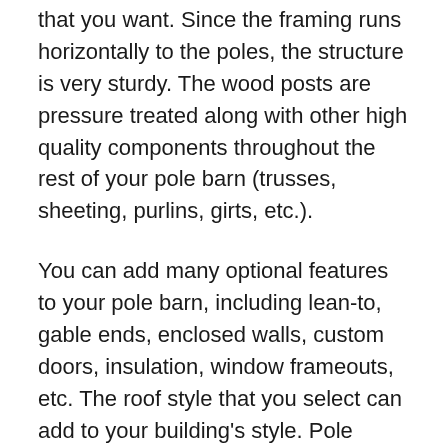that you want. Since the framing runs horizontally to the poles, the structure is very sturdy. The wood posts are pressure treated along with other high quality components throughout the rest of your pole barn (trusses, sheeting, purlins, girts, etc.).
You can add many optional features to your pole barn, including lean-to, gable ends, enclosed walls, custom doors, insulation, window frameouts, etc. The roof style that you select can add to your building's style. Pole barns are very affordable and simple for our Hawthorne builders to erect, helping to reduce the costs that you might expect to pay for your new building.